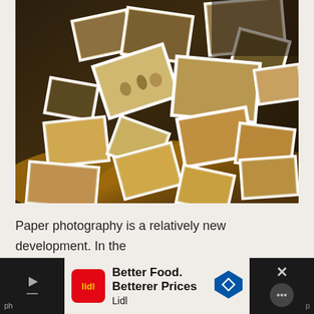[Figure (photo): A pile of scattered vintage and black-and-white photographs spread across a dark surface, with warm golden-toned lighting. The photos appear to be old prints with white borders.]
Paper photography is a relatively new development. In the early days of photography, people used to print their
[Figure (other): Advertisement banner for Lidl: 'Better Food. Betterer Prices' with Lidl logo (red background, yellow text) and a blue navigation arrow icon. Dark bars flank the ad on left and right with playback controls and close button.]